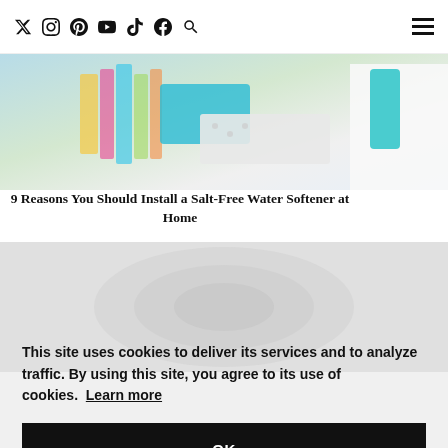Social media navigation icons (Twitter, Instagram, Pinterest, YouTube, TikTok, Facebook, Search) and hamburger menu
[Figure (photo): Colorful fabric and laundry supplies photo, partially cropped]
9 Reasons You Should Install a Salt-Free Water Softener at Home
This site uses cookies to deliver its services and to analyze traffic. By using this site, you agree to its use of cookies. Learn more
OK